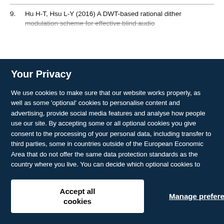9. Hu H-T, Hsu L-Y (2016) A DWT-based rational dither modulation scheme for effective blind audio
Your Privacy

We use cookies to make sure that our website works properly, as well as some 'optional' cookies to personalise content and advertising, provide social media features and analyse how people use our site. By accepting some or all optional cookies you give consent to the processing of your personal data, including transfer to third parties, some in countries outside of the European Economic Area that do not offer the same data protection standards as the country where you live. You can decide which optional cookies to accept by clicking on 'Manage Settings', where you can also find more information about how your personal data is processed. Further information can be found in our privacy policy.
Accept all cookies
Manage preferences